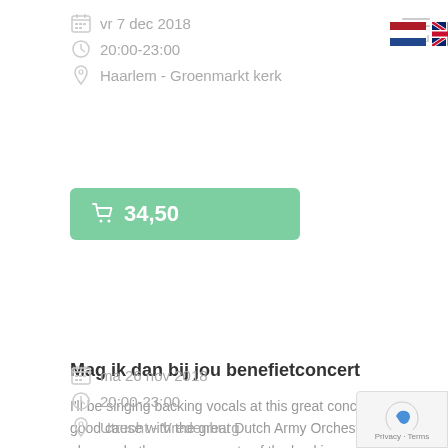vr 7 dec 2018
20:00-23:00
Haarlem - Groenmarkt kerk
[Figure (other): Buy ticket button showing price 34,50 with shopping cart icon on green background]
Mag ik dan bij jou benefietconcert
I'll be singing backing vocals at this great concert for a good cause with the great Dutch Army Orchestra. I've also made the arrangements of the backing parts, so double fun!
ma 26 nov 2018
20:00-23:00
Utrecht - Vredenburg